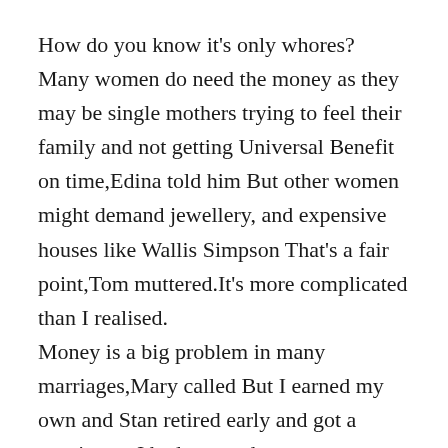How do you know it's only whores? Many women do need the money as they may be single mothers trying to feel their family and not getting Universal Benefit on time,Edina told him But other women might demand jewellery, and expensive houses like Wallis Simpson That's a fair point,Tom muttered.It's more complicated than I realised.
Money is a big problem in many marriages,Mary called But I earned my own and Stan retired early and got a pension so I had no need to
beg him for money
But did he beg you,Edina asked?
No, we just kept in the bathroom under the soap.So it was clean.
I wonder if viruses can spread on money? Tom said